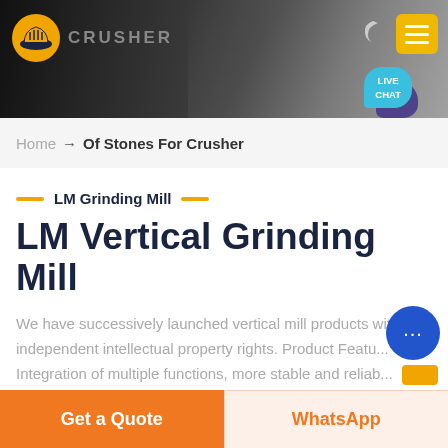[Figure (screenshot): Website header banner with dark industrial/crusher background image, company logo (orange hard hat icon) on left, moon icon and yellow hamburger menu button on top right, and a 'LIVE CHAT' teal speech bubble on bottom right]
Home → Of Stones For Crusher
LM Grinding Mill
LM Vertical Grinding Mill
We have successively launched vertical mill products with independent intellectual property rights. Product Featu... Integration of multiple functions, more stable and reliab... production and more excellent capacity.
Get a Quote
WhatsApp